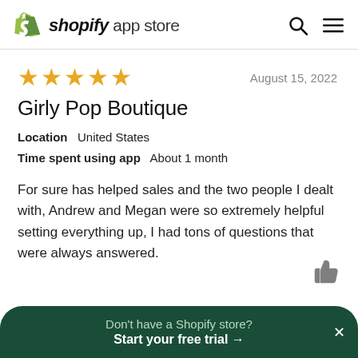shopify app store
★★★★★  August 15, 2022
Girly Pop Boutique
Location   United States
Time spent using app   About 1 month
For sure has helped sales and the two people I dealt with, Andrew and Megan were so extremely helpful setting everything up, I had tons of questions that were always answered.
Don't have a Shopify store?
Start your free trial →